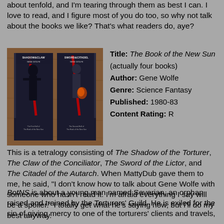about tenfold, and I'm tearing through them as best I can. I love to read, and I figure most of you do too, so why not talk about the books we like? That's what readers do, aye?
[Figure (photo): Two book covers photographed on a wooden surface: 'Shadow & Claw' by Gene Wolfe (The First Half of the Book of the New Sun) on the left, and 'Sword & Citadel' by Gene Wolfe on the right. Both books have dark covers with fantasy artwork.]
Title: The Book of the New Sun (actually four books)
Author: Gene Wolfe
Genre: Science Fantasy
Published: 1980-83
Content Rating: R
This is a tetralogy consisting of The Shadow of the Torturer, The Claw of the Conciliator, The Sword of the Lictor, and The Citadel of the Autarch. When MattyDub gave them to me, he said, "I don't know how to talk about Gene Wolfe with someone who hasn't read it. I'm afraid everything I say will be a spoiler." I totally get what he's saying now, but I'll do my best anyway.
BotNS is about a young man named Severian, an orphan raised and trained by the Torturers' Guild. He is exiled for the sin of giving mercy to one of the torturers' clients and travels,